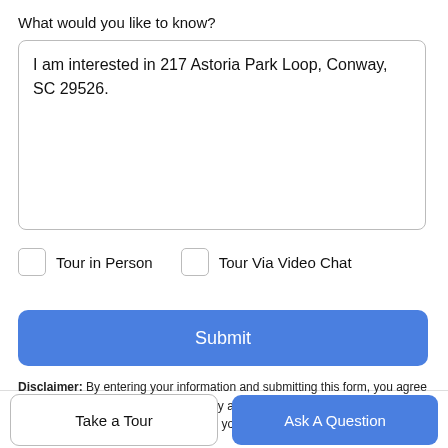What would you like to know?
I am interested in 217 Astoria Park Loop, Conway, SC 29526.
Tour in Person
Tour Via Video Chat
Submit
Disclaimer: By entering your information and submitting this form, you agree to our Terms of Use and Privacy Policy and that you may be contacted by phone, text message and email about your inquiry.
Take a Tour
Ask A Question